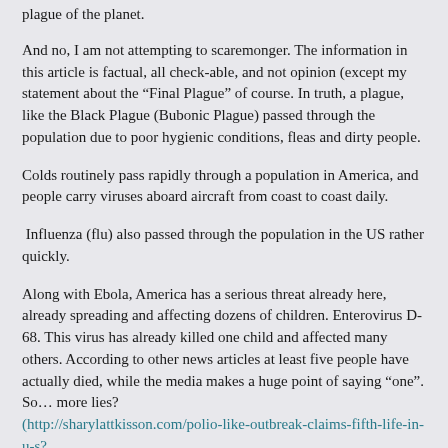plague of the planet.
And no, I am not attempting to scaremonger.  The information in this article is factual, all check-able, and not opinion (except my statement about the “Final Plague” of course.  In truth, a plague, like the Black Plague (Bubonic Plague) passed through the population due to poor hygienic conditions, fleas and dirty people.
Colds routinely pass rapidly through a population in America, and people carry viruses aboard aircraft from coast to coast daily.
Influenza (flu) also passed through the population in the US rather quickly.
Along with Ebola, America has a serious threat already here, already spreading and affecting dozens of children.  Enterovirus D-68.  This virus has already killed one child and affected many others.  According to other news articles at least five people have actually died, while the media makes a huge point of saying “one”.  So… more lies?
(http://sharylattkisson.com/polio-like-outbreak-claims-fifth-life-in-u-s?utm_source=feedburner&utm_medium=feed&utm_campaign=Feed%3A+Sha